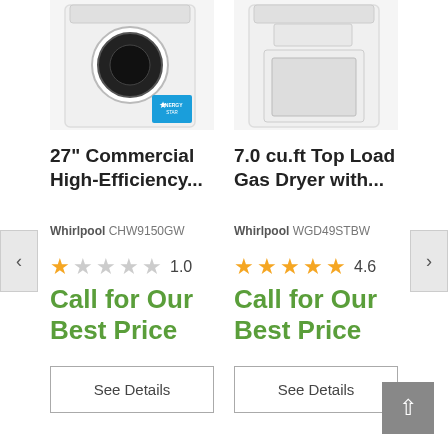[Figure (photo): Whirlpool front-load washer with Energy Star badge, partially cropped at top]
27" Commercial High-Efficiency...
Whirlpool CHW9150GW
1.0 (star rating)
Call for Our Best Price
See Details
[Figure (photo): Whirlpool top-load gas dryer, partially cropped at top]
7.0 cu.ft Top Load Gas Dryer with...
Whirlpool WGD49STBW
4.6 (star rating)
Call for Our Best Price
See Details